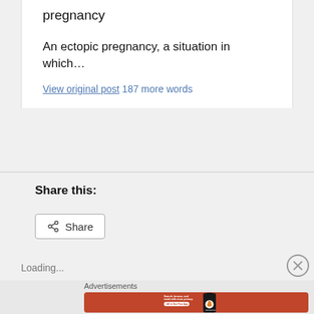pregnancy
An ectopic pregnancy, a situation in which…
View original post 187 more words
Share this:
Share
Loading...
Advertisements
[Figure (screenshot): DuckDuckGo advertisement banner with orange background. Text reads: Search, browse, and email with more privacy. All in One Free App. Shows DuckDuckGo logo with duck mascot icon on a phone mockup.]